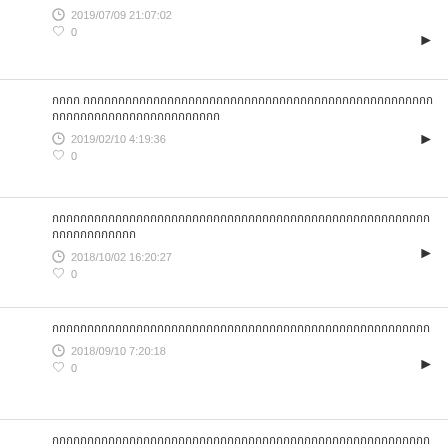2019/07/09 21:07:02 ♡ 0
กกกก กกกกกกกกกกกกกกกกกกกกกกกกกกกกกกกกกกกกกกกกกกก 2019/02/10 4:19:36 ♡ 0
กกกกกกกกกกกกกกกกกกกกกกกกกกกกกกกกกกกกกกกกกกกกกกกกก 2018/10/02 16:20:27 ♡ 0
กกกกกกกกกกกกกกกกกกกกกกกกกกกกกกกกกกกกกกกกก 2018/09/10 7:20:18 ♡ 0
กกกกกกกกกกกกกกกกกกกกกกกกกกกกกกกกกกกกกกกกกกกกกกกกกกกกกกกกกกกกกกกกกก